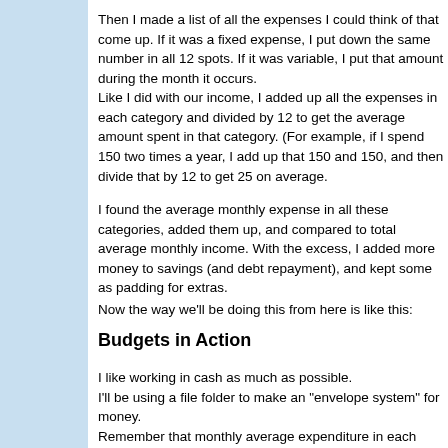Then I made a list of all the expenses I could think of that come up. If it was a fixed expense, I put down the same number in all 12 spots. If it was variable, I put that amount during the month it occurs. Like I did with our income, I added up all the expenses in each category and divided by 12 to get the average amount spent in that category. (For example, if I spend 150 two times a year, I add up that 150 and 150, and then divide that by 12 to get 25 on average.
I found the average monthly expense in all these categories, added them up, and compared to total average monthly income. With the excess, I added more money to savings (and debt repayment), and kept some as padding for extras.
Now the way we'll be doing this from here is like this:
Budgets in Action
I like working in cash as much as possible. I'll be using a file folder to make an "envelope system" for money. Remember that monthly average expenditure in each category? That money will go into a pocket of the file folder. That 25 dollars monthly for shoes will go in the shoe file. Each month, I put 25 in that "envelope", and when I need to spend money on shoes, I'll take it out of that file. Same goes for the rest of my budgeted money. It goes in cash i